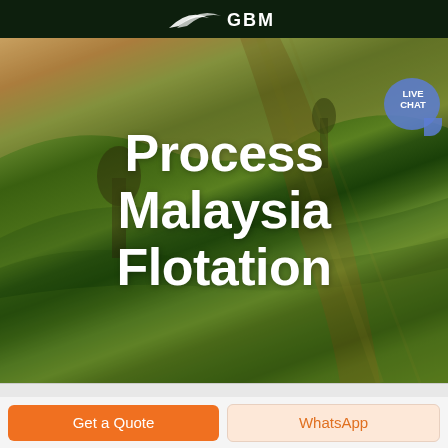[Figure (logo): GBM company logo on dark green top bar]
[Figure (screenshot): Green navigation bar with hamburger menu icon on the right]
[Figure (photo): Aerial photograph of rolling green farmland fields with winding paths and a lone tree]
Process Malaysia Flotation
[Figure (illustration): Live chat speech bubble icon in blue/purple with text LIVE CHAT]
Get a Quote
WhatsApp